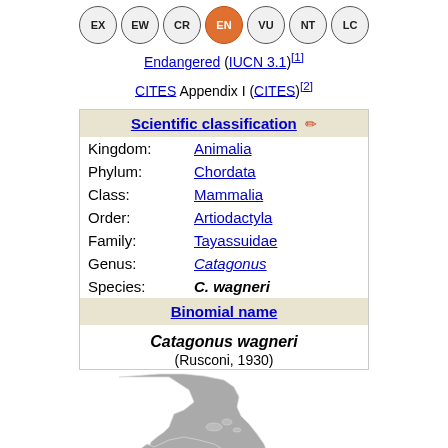[Figure (infographic): IUCN conservation status buttons: EX, EW, CR, EN (highlighted orange), VU, NT, LC]
Endangered (IUCN 3.1)[1]
CITES Appendix I (CITES)[2]
| Scientific classification |  |
| --- | --- |
| Kingdom: | Animalia |
| Phylum: | Chordata |
| Class: | Mammalia |
| Order: | Artiodactyla |
| Family: | Tayassuidae |
| Genus: | Catagonus |
| Species: | C. wagneri |
| Binomial name |  |
| Catagonus wagneri (Rusconi, 1930) |  |
[Figure (map): Map of Central and South America showing the range of Catagonus wagneri, highlighted in gray]